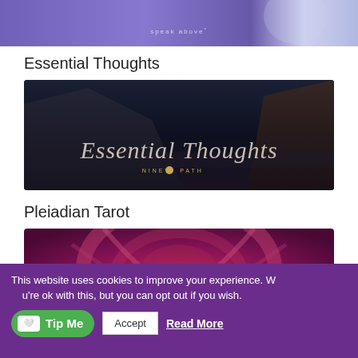[Figure (photo): Top cropped purple/blue image showing partial text 'speak above' in light letters]
Essential Thoughts
[Figure (photo): Dark mountain landscape image with script text 'Essential Thoughts' and subtitle 'NINE'S PATH' in gold]
Pleiadian Tarot
[Figure (photo): Close-up of deep pink/magenta rose petals with two interlinked glowing blue rings in the center]
This website uses cookies to improve your experience. We'll assume you're ok with this, but you can opt out if you wish.
Accept
Read More
Tip Me